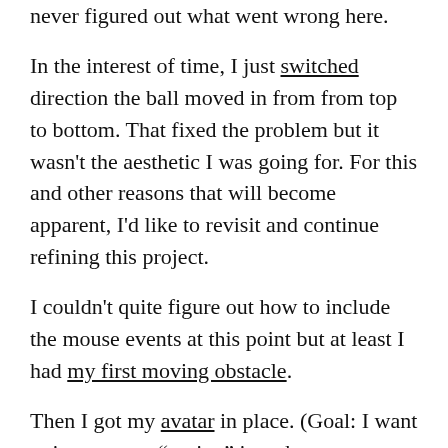never figured out what went wrong here.
In the interest of time, I just switched direction the ball moved in from from top to bottom. That fixed the problem but it wasn't the aesthetic I was going for. For this and other reasons that will become apparent, I'd like to revisit and continue refining this project.
I couldn't quite figure out how to include the mouse events at this point but at least I had my first moving obstacle.
Then I got my avatar in place. (Goal: I want to incorporate “easing” into the movement of the avatar like in this example.)